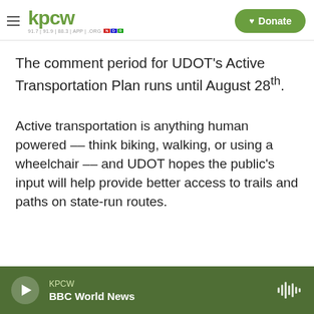KPCW — 91.7 | 91.9 | 88.3 | APP | .ORG — NPR — Donate
The comment period for UDOT’s Active Transportation Plan runs until August 28th.
Active transportation is anything human powered –– think biking, walking, or using a wheelchair –– and UDOT hopes the public’s input will help provide better access to trails and paths on state-run routes.
KPCW — BBC World News